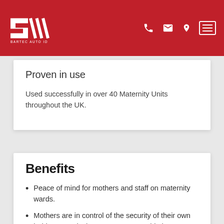BARTEC AUTO ID
Proven in use
Used successfully in over 40 Maternity Units throughout the UK.
Benefits
Peace of mind for mothers and staff on maternity wards.
Mothers are in control of the security of their own babies; security becomes a partnership between mothers and midwives.